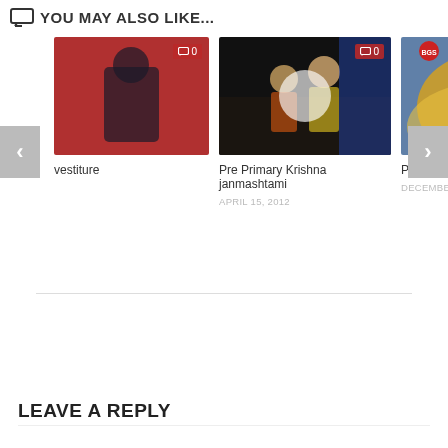YOU MAY ALSO LIKE...
[Figure (photo): Thumbnail of a person on stage with red background, comment badge showing 0]
vestiture
[Figure (photo): Thumbnail of two people in traditional costume on dark stage, comment badge showing 0]
Pre Primary Krishna janmashtami
APRIL 15, 2012
[Figure (photo): Partially visible thumbnail with BGS National Awareness Program text on yellow/blue background]
Pre Primary Bea
DECEMBER 13, 2
LEAVE A REPLY